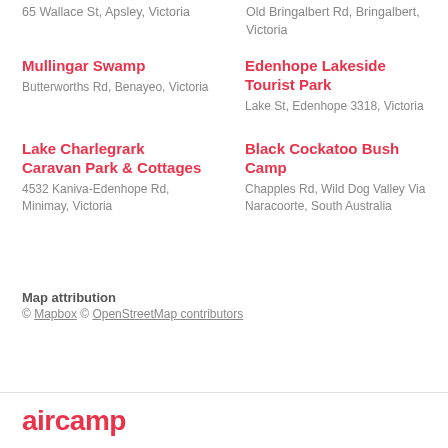65 Wallace St, Apsley, Victoria
Old Bringalbert Rd, Bringalbert, Victoria
Mullingar Swamp
Butterworths Rd, Benayeo, Victoria
Edenhope Lakeside Tourist Park
Lake St, Edenhope 3318, Victoria
Lake Charlegrark Caravan Park & Cottages
4532 Kaniva-Edenhope Rd, Minimay, Victoria
Black Cockatoo Bush Camp
Chapples Rd, Wild Dog Valley Via Naracoorte, South Australia
Map attribution
© Mapbox © OpenStreetMap contributors
aircamp